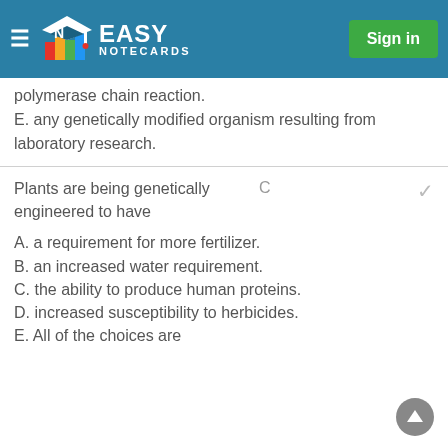Easy Notecards — Sign in
polymerase chain reaction.
E. any genetically modified organism resulting from laboratory research.
Plants are being genetically engineered to have
C
A. a requirement for more fertilizer.
B. an increased water requirement.
C. the ability to produce human proteins.
D. increased susceptibility to herbicides.
E. All of the choices are